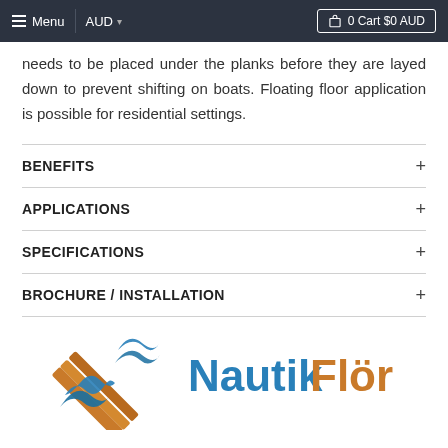≡ Menu | AUD ▾ | 🛒 0 Cart $0 AUD
needs to be placed under the planks before they are layed down to prevent shifting on boats. Floating floor application is possible for residential settings.
BENEFITS
APPLICATIONS
SPECIFICATIONS
BROCHURE / INSTALLATION
[Figure (logo): NautikFlör logo: stylized wave and wood plank X graphic in blue and brown, with text 'NautikFlör' where Nautik is in blue and Flör is in orange/brown]